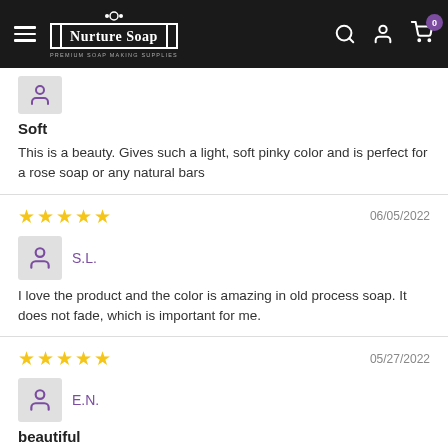Nurture Soap - Premium Soap Making Supplies
Soft
This is a beauty. Gives such a light, soft pinky color and is perfect for a rose soap or any natural bars
06/05/2022 — 5 stars — S.L.
I love the product and the color is amazing in old process soap. It does not fade, which is important for me.
05/27/2022 — 5 stars — E.N.
beautiful